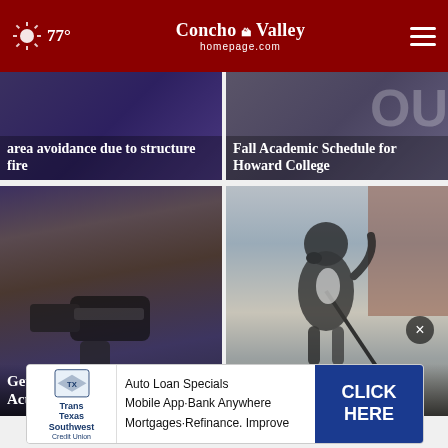77° | ConchoValley homepage.com
[Figure (screenshot): News card: area avoidance due to structure fire — dark purple background with headline]
[Figure (screenshot): News card: Fall Academic Schedule for Howard College — dark background with headline and 'OU' text visible]
[Figure (photo): News card: Get Out Alive: Surviving an Active Shooter event — person holding a gun, blurred face]
[Figure (photo): News card: PAWS upcoming adoption events — dog on a leash walking on a street]
[Figure (infographic): Advertisement: Trans Texas Southwest Credit Union — Auto Loan Specials, Mobile App, Bank Anywhere, Mortgages, Refinance, Improve. CLICK HERE button.]